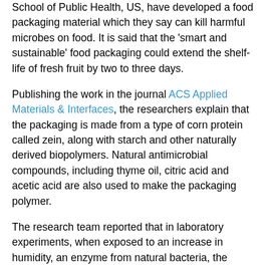School of Public Health, US, have developed a food packaging material which they say can kill harmful microbes on food. It is said that the 'smart and sustainable' food packaging could extend the shelf-life of fresh fruit by two to three days.
Publishing the work in the journal ACS Applied Materials & Interfaces, the researchers explain that the packaging is made from a type of corn protein called zein, along with starch and other naturally derived biopolymers. Natural antimicrobial compounds, including thyme oil, citric acid and acetic acid are also used to make the packaging polymer.
The research team reported that in laboratory experiments, when exposed to an increase in humidity, an enzyme from natural bacteria, the...